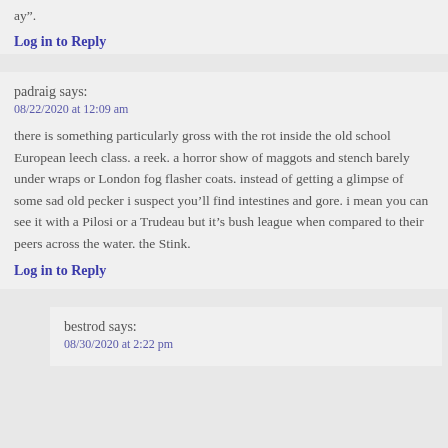ay”.
Log in to Reply
padraig says:
08/22/2020 at 12:09 am
there is something particularly gross with the rot inside the old school European leech class. a reek. a horror show of maggots and stench barely under wraps or London fog flasher coats. instead of getting a glimpse of some sad old pecker i suspect you’ll find intestines and gore. i mean you can see it with a Pilosi or a Trudeau but it’s bush league when compared to their peers across the water. the Stink.
Log in to Reply
bestrod says:
08/30/2020 at 2:22 pm